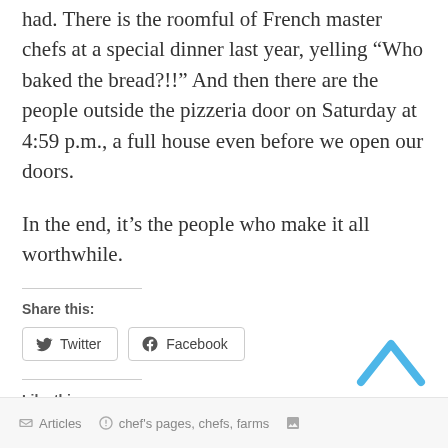had. There is the roomful of French master chefs at a special dinner last year, yelling “Who baked the bread?!!” And then there are the people outside the pizzeria door on Saturday at 4:59 p.m., a full house even before we open our doors.
In the end, it’s the people who make it all worthwhile.
Share this:
Twitter  Facebook
Like this:
Loading...
Articles  chef's pages, chefs, farms